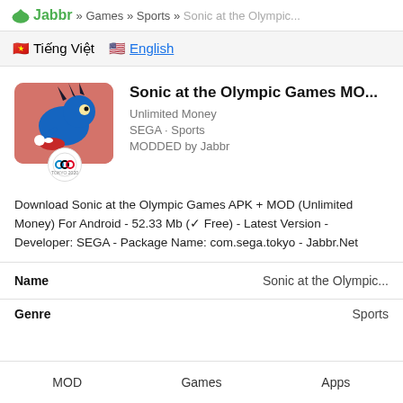Jabbr » Games » Sports » Sonic at the Olympic...
🇻🇳 Tiếng Việt  🇺🇸 English
Sonic at the Olympic Games MO...
Unlimited Money
SEGA · Sports
MODDED by Jabbr
Download Sonic at the Olympic Games APK + MOD (Unlimited Money) For Android - 52.33 Mb (✓ Free) - Latest Version - Developer: SEGA - Package Name: com.sega.tokyo - Jabbr.Net
| Name |  |
| --- | --- |
| Name | Sonic at the Olympic... |
| Genre | Sports |
MOD   Games   Apps